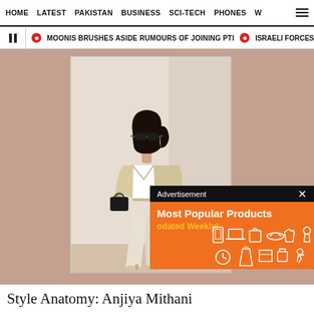HOME  LATEST  PAKISTAN  BUSINESS  SCI-TECH  PHONES  W
MOONIS BRUSHES ASIDE RUMOURS OF JOINING PTI   ISRAELI FORCES KILL
[Figure (photo): Woman posing in white crop top, beige blazer, cream wide-leg trousers and heeled sandals, carrying a black bag, leaning against a light wall. Overlaid with an advertisement popup for 'Most Popular Products Updated Weekly!']
Style Anatomy: Anjiya Mithani